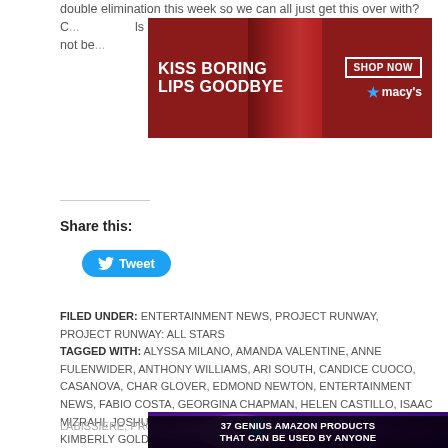double elimination this week so we can all just get this over with? C... ls (if not be...
[Figure (advertisement): Macy's lipstick ad: KISS BORING LIPS GOODBYE with a woman's red lips, SHOP NOW button and macy's star logo]
Share this:
[Figure (other): Tweet button in blue with Twitter bird icon]
FILED UNDER: ENTERTAINMENT NEWS, PROJECT RUNWAY, PROJECT RUNWAY: ALL STARS
TAGGED WITH: ALYSSA MILANO, AMANDA VALENTINE, ANNE FULENWIDER, ANTHONY WILLIAMS, ARI SOUTH, CANDICE CUOCO, CASANOVA, CHAR GLOVER, EDMOND NEWTON, ENTERTAINMENT NEWS, FABIO COSTA, GEORGINA CHAPMAN, HELEN CASTILLO, ISAAC MIZRAHI, JOSHUA MCKINLEY, KELLY DEMPSEY, KEN LAURENCE, KIMBERLY GOLDSON, MELISSA FLEIS, MERLINE LABISSIERE, PROJECT RUNWAY, PROJECT RUNWAY... STANL...
[Figure (advertisement): 37 Genius Amazon Products That Can Be Used By Anyone - ad with purple headphones on wood surface, CLOSE button overlay]